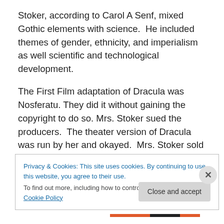Stoker, according to Carol A Senf, mixed Gothic elements with science.  He included themes of gender, ethnicity, and imperialism as well scientific and technological development.
The First Film adaptation of Dracula was Nosferatu. They did it without gaining the copyright to do so. Mrs. Stoker sued the producers.  The theater version of Dracula was run by her and okayed.  Mrs. Stoker sold the rights to Dracula to Deane and Universal Studios. 1931 Universal came out with Bella Lugosi's version.  For more on that,
Privacy & Cookies: This site uses cookies. By continuing to use this website, you agree to their use.
To find out more, including how to control cookies, see here: Cookie Policy
Close and accept